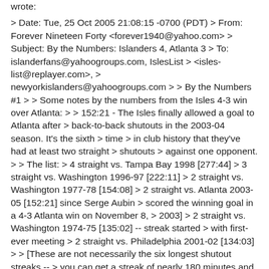wrote:
> Date: Tue, 25 Oct 2005 21:08:15 -0700 (PDT) > From: Forever Nineteen Forty <forever1940@yahoo.com> > Subject: By the Numbers: Islanders 4, Atlanta 3 > To: islanderfans@yahoogroups.com, IslesList > <isles-list@replayer.com>, > newyorkislanders@yahoogroups.com > > By the Numbers #1 > > Some notes by the numbers from the Isles 4-3 win over Atlanta: > > 152:21 - The Isles finally allowed a goal to Atlanta after > back-to-back shutouts in the 2003-04 season. It's the sixth > time > in club history that they've had at least two straight > shutouts > against one opponent. > > The list: > 4 straight vs. Tampa Bay 1998 [277:44] > 3 straight vs. Washington 1996-97 [222:11] > 2 straight vs. Washington 1977-78 [154:08] > 2 straight vs. Atlanta 2003-05 [152:21] since Serge Aubin > scored the winning goal in a 4-3 Atlanta win on November 8, > 2003] > 2 straight vs. Washington 1974-75 [135:02] -- streak started > with first-ever meeting > 2 straight vs. Philadelphia 2001-02 [134:03] > > [These are not necessarily the six longest shutout streaks -- > you can get a streak of nearly 180 minutes and only have one > shutout in that span] > > 2x2x2+ For the third straight game, the Isles scored at >